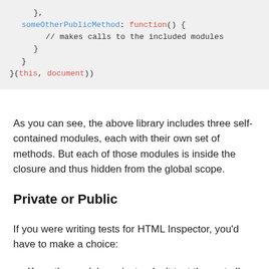[Figure (screenshot): Code block showing JavaScript module pattern with colored syntax highlighting. Contains lines: '    },' then 'someOtherPublicMethod: function() {' then '// makes calls to the included modules' then '    }' then '  }' then '}(this, document))']
As you can see, the above library includes three self-contained modules, each with their own set of methods. But each of those modules is inside the closure and thus hidden from the global scope.
Private or Public
If you were writing tests for HTML Inspector, you'd have to make a choice:
Keep the modules private, don't test them at all, and hope the tests written for the public